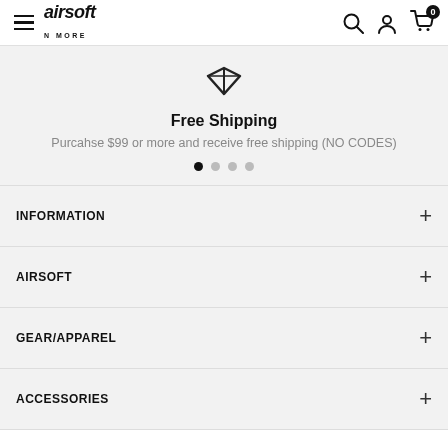airsoft N MORE — navigation header with hamburger menu, search, account, and cart icons
[Figure (illustration): Open book / diamond outline icon]
Free Shipping
Purcahse $99 or more and receive free shipping (NO CODES)
[Figure (other): Carousel pagination dots: 4 dots, first one active (filled black)]
INFORMATION
AIRSOFT
GEAR/APPAREL
ACCESSORIES